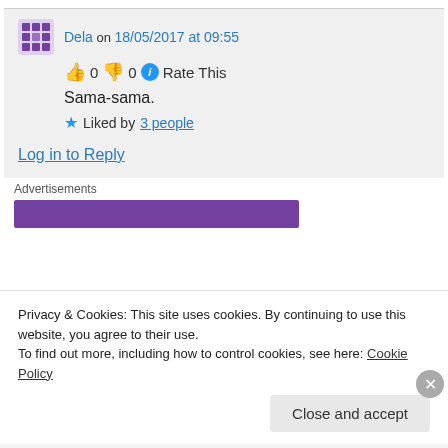Dela on 18/05/2017 at 09:55
👍 0 👎 0 ℹ Rate This
Sama-sama.
★ Liked by 3 people
Log in to Reply
Advertisements
[Figure (other): Purple advertisement banner bar]
Privacy & Cookies: This site uses cookies. By continuing to use this website, you agree to their use.
To find out more, including how to control cookies, see here: Cookie Policy
Close and accept